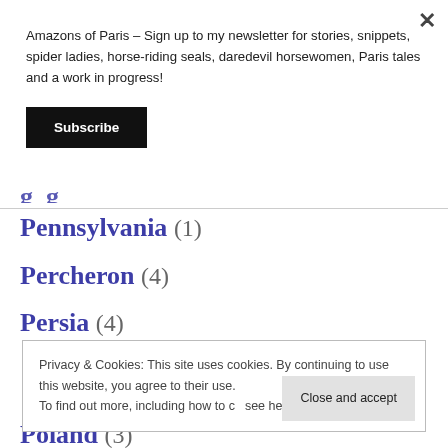Amazons of Paris – Sign up to my newsletter for stories, snippets, spider ladies, horse-riding seals, daredevil horsewomen, Paris tales and a work in progress!
Subscribe
Pennsylvania (1)
Percheron (4)
Persia (4)
Privacy & Cookies: This site uses cookies. By continuing to use this website, you agree to their use. To find out more, including how to control cookies, see here: Cookie Policy
Close and accept
Poland (3)